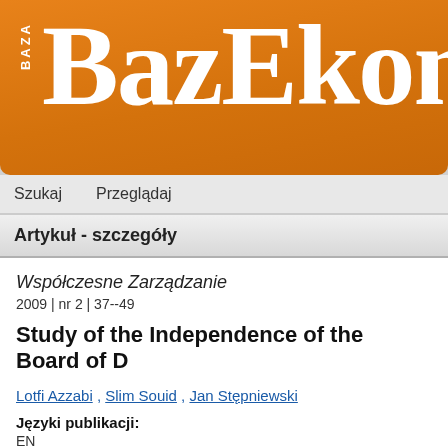[Figure (logo): BazEkon orange gradient logo banner with 'BAZA' written vertically on the left and 'BazEkon' in large white serif font]
Szukaj   Przeglądaj
Artykuł - szczegóły
Współczesne Zarządzanie
2009 | nr 2 | 37--49
Study of the Independence of the Board of D
Lotfi Azzabi , Slim Souid , Jan Stępniewski
Języki publikacji:
EN
Abstrakty:
EN  This study examines the relationship between the independence of Paris which have applied the International Accounting Standa